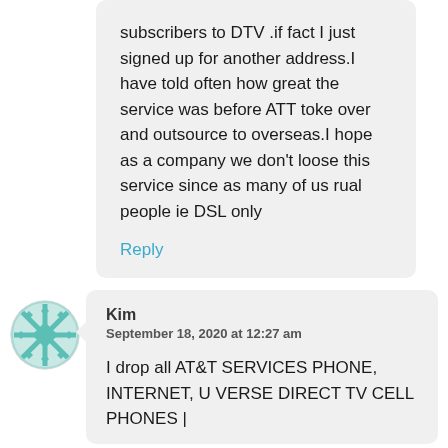subscribers to DTV .if fact I just signed up for another address.I have told often how great the service was before ATT toke over and outsource to overseas.I hope as a company we don't loose this service since as many of us rual people ie DSL only
Reply
[Figure (illustration): Round avatar with teal/mint geometric snowflake pattern]
Kim
September 18, 2020 at 12:27 am
I drop all AT&T SERVICES PHONE, INTERNET, U VERSE DIRECT TV CELL PHONES |